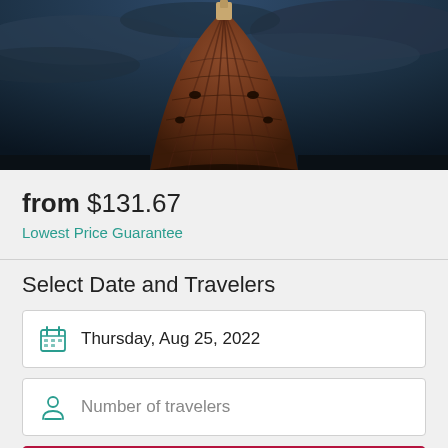[Figure (photo): Looking up at the dome of the Florence Cathedral (Brunelleschi's Dome) against a dramatic cloudy sky]
from $131.67
Lowest Price Guarantee
Select Date and Travelers
Thursday, Aug 25, 2022
Number of travelers
Check Availability
Free cancellation